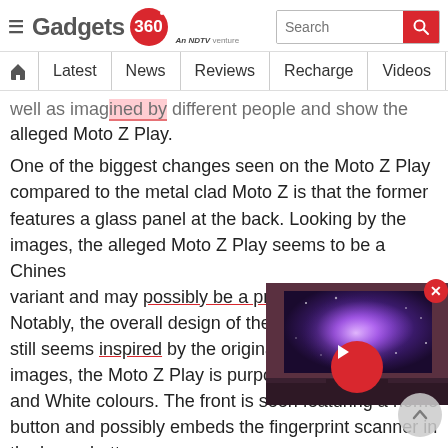Gadgets 360 — An NDTV venture
Latest | News | Reviews | Recharge | Videos | M
well as images shared by different people and show the alleged Moto Z Play.
One of the biggest changes seen on the Moto Z Play compared to the metal clad Moto Z is that the former features a glass panel at the back. Looking by the images, the alleged Moto Z Play seems to be a Chinese variant and may possibly be a proto[type]. Notably, the overall design of the all[eged device] still seems inspired by the original M[oto Z]. From the images, the Moto Z Play is purporte[d to come in Black] and White colours. The front is seen featuring a home button and possibly embeds the fingerprint scanner in the home button.
[Figure (screenshot): Video thumbnail showing a TV displaying a galaxy/nebula image, with a red play button overlay in the center.]